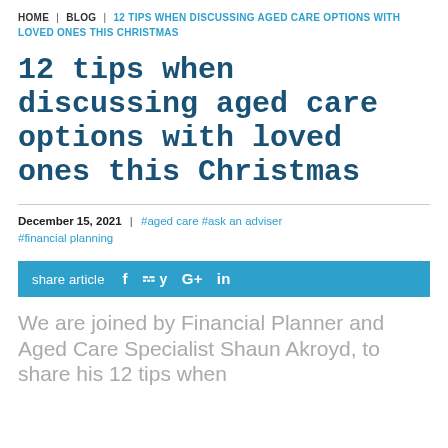HOME | BLOG | 12 TIPS WHEN DISCUSSING AGED CARE OPTIONS WITH LOVED ONES THIS CHRISTMAS
12 tips when discussing aged care options with loved ones this Christmas
December 15, 2021 | #aged care #ask an adviser #financial planning
share article  f  y  G+  in
We are joined by Financial Planner and Aged Care Specialist Shaun Akroyd, to share his 12 tips when